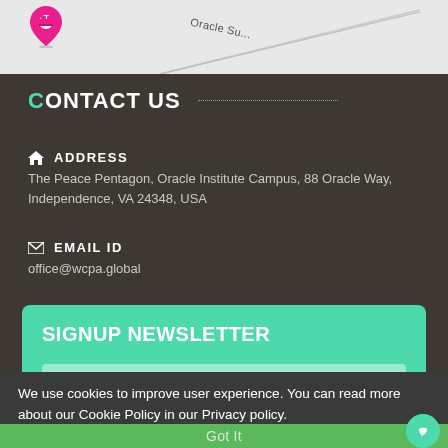[Figure (map): Partial map view showing a map pin icon and a road label 'Oracle Su...' on a light grey map background]
CONTACT US
ADDRESS
The Peace Pentagon, Oracle Institute Campus, 88 Oracle Way, Independence, VA 24348, USA
EMAIL ID
office@wcpa.global
SIGNUP NEWSLETTER
Email
We use cookies to improve user experience. You can read more about our Cookie Policy in our Privacy policy.
Got It